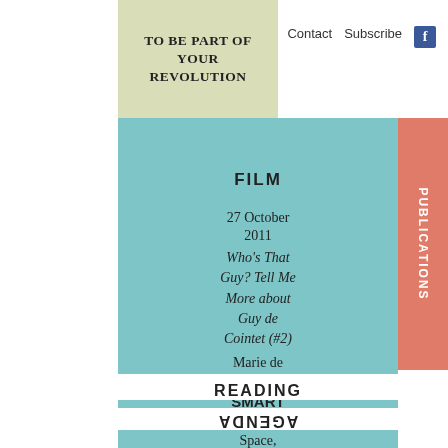TO BE PART OF YOUR REVOLUTION
Contact   Subscribe   f
PUBLICATIONS
FILM
27 October 2011
Who's That Guy? Tell Me More about Guy de Cointet (#2)
Marie de Brugerolle
SMART Project Space, Amsterdam
READING
AGENDA
EDITIONS